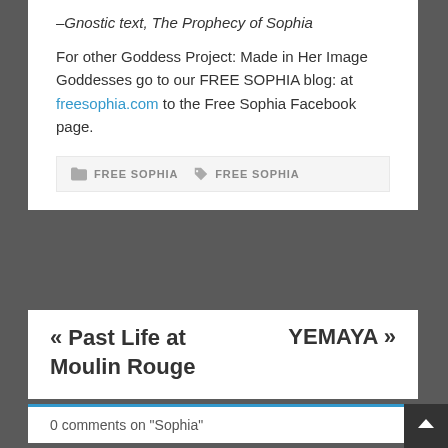–Gnostic text, The Prophecy of Sophia
For other Goddess Project: Made in Her Image Goddesses go to our FREE SOPHIA blog: at freesophia.com to the Free Sophia Facebook page.
FREE SOPHIA   FREE SOPHIA
« Past Life at Moulin Rouge   YEMAYA »
0 comments on “Sophia”